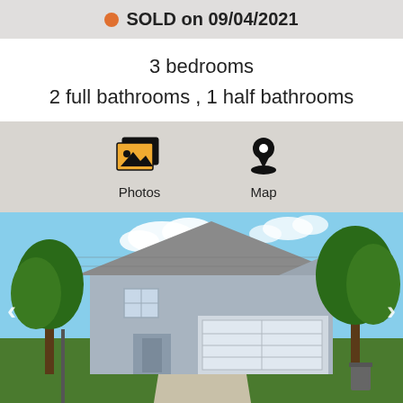SOLD on 09/04/2021
3 bedrooms
2 full bathrooms , 1 half bathrooms
[Figure (infographic): Photos and Map icon buttons on grey background]
[Figure (photo): Exterior photo of a two-story grey house with attached two-car garage, green trees, blue sky, and concrete driveway]